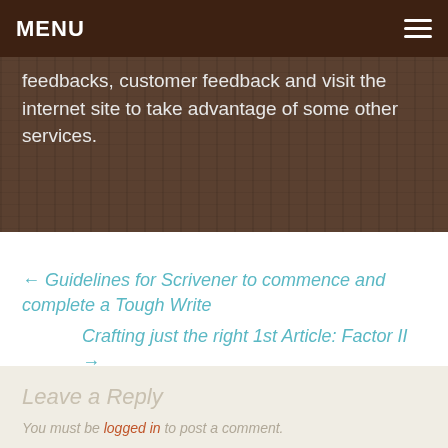MENU
feedbacks, customer feedback and visit the internet site to take advantage of some other services.
← Guidelines for Scrivener to commence and complete a Tough Write
Crafting just the right 1st Article: Factor II →
Leave a Reply
You must be logged in to post a comment.